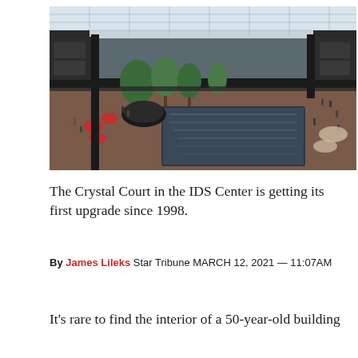[Figure (photo): Interior panoramic view of Crystal Court in the IDS Center, showing a large atrium with glass ceiling, trees, seating areas, a reflective pool/skylight floor panel, and multiple levels with retail shops and people.]
The Crystal Court in the IDS Center is getting its first upgrade since 1998.
By James Lileks Star Tribune MARCH 12, 2021 — 11:07AM
It's rare to find the interior of a 50-year-old building